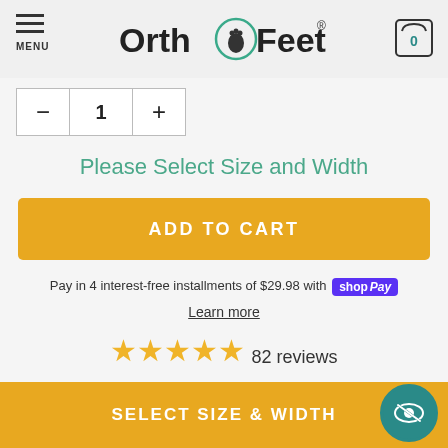MENU | OrthoFeet | Cart (0)
- 1 +
Please Select Size and Width
ADD TO CART
Pay in 4 interest-free installments of $29.98 with shop Pay
Learn more
82 reviews
60-Day Wear Test
100% Satisfaction Guaranteed
ium Orthotic Insoles
NEED HELP?
SELECT SIZE & WIDTH